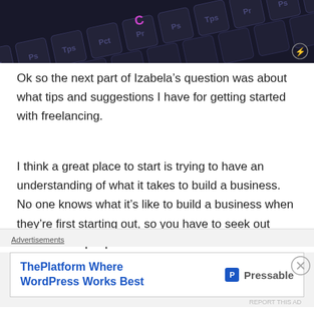[Figure (photo): Dark keyboard background image with keys labeled Pr, Ps, Tps, Pct, Pr etc. in dark purple/black tones. A small circular flash icon is visible at bottom right.]
Ok so the next part of Izabela’s question was about what tips and suggestions I have for getting started with freelancing.
I think a great place to start is trying to have an understanding of what it takes to build a business. No one knows what it’s like to build a business when they’re first starting out, so you have to seek out sources and people who do have that information And I know it’s weird, especially when you’re first starting out, to think of yourself as a
Advertisements
ThePlatform Where WordPress Works Best — Pressable